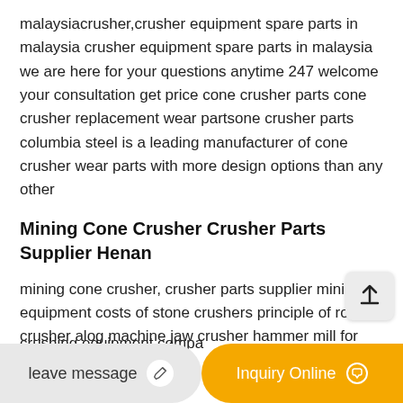malaysiacrusher,crusher equipment spare parts in malaysia crusher equipment spare parts in malaysia we are here for your questions anytime 247 welcome your consultation get price cone crusher parts cone crusher replacement wear partsone crusher parts columbia steel is a leading manufacturer of cone crusher wear parts with more design options than any other
Mining Cone Crusher Crusher Parts Supplier Henan
mining cone crusher, crusher parts supplier mining equipment costs of stone crushers principle of roll crusher alog machine jaw crusher hammer mill for
crushing equipment compa